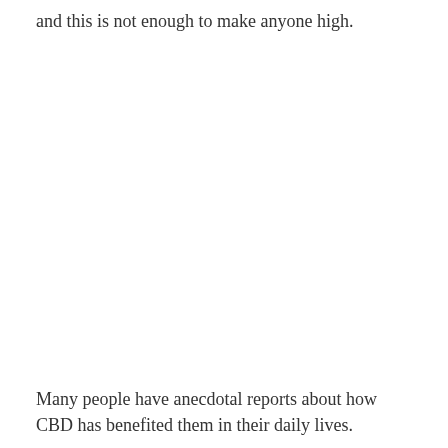and this is not enough to make anyone high.
Many people have anecdotal reports about how CBD has benefited them in their daily lives.